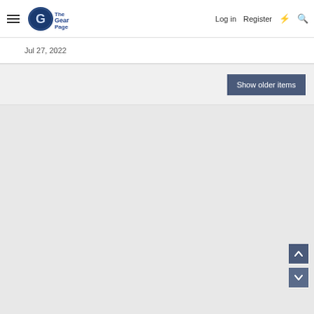The Gear Page — Log in  Register
Jul 27, 2022
Show older items